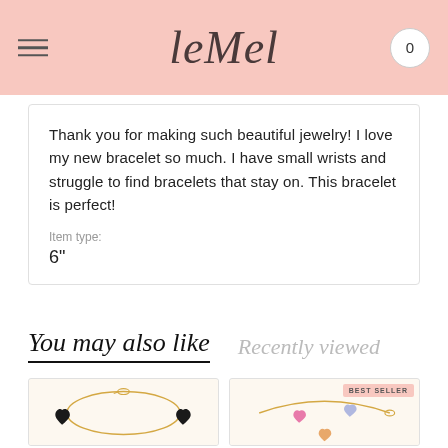leMel — 0
Thank you for making such beautiful jewelry! I love my new bracelet so much. I have small wrists and struggle to find bracelets that stay on. This bracelet is perfect!
Item type:
6"
You may also like   Recently viewed
[Figure (photo): Gold bracelet with two black heart charms on a delicate chain]
[Figure (photo): Gold bracelet with multiple colorful heart charms (pink, blue, orange) — labeled BEST SELLER]